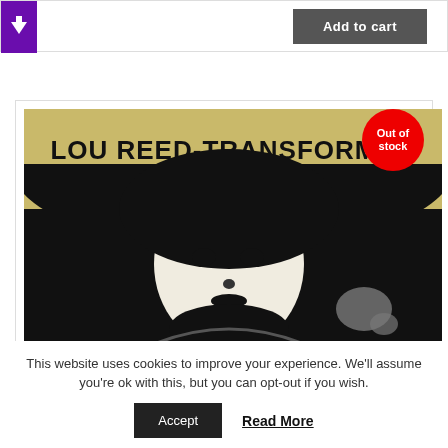[Figure (screenshot): Top bar with purple arrow icon on left and dark 'Add to cart' button on right]
[Figure (photo): Lou Reed Transformer album cover - black and white high-contrast portrait of Lou Reed with the text 'LOU REED-TRANSFORMER' on a golden/yellow background with black silhouette. Red 'Out of stock' badge in top right corner.]
This website uses cookies to improve your experience. We'll assume you're ok with this, but you can opt-out if you wish.
Accept
Read More